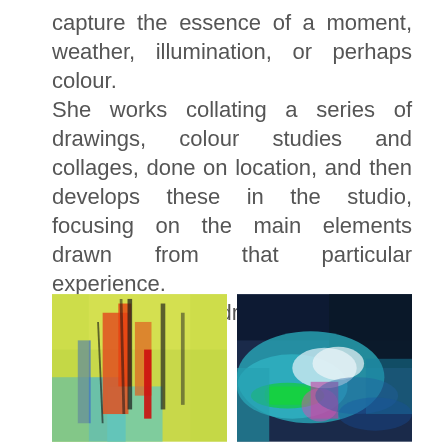capture the essence of a moment, weather, illumination, or perhaps colour. She works collating a series of drawings, colour studies and collages, done on location, and then develops these in the studio, focusing on the main elements drawn from that particular experience. Colour and Light drive her work.
[Figure (illustration): Abstract painting with bright yellow-green background and bold red, orange, blue brushstrokes with black linear marks]
[Figure (illustration): Abstract painting with dark blue background and flowing teal, green, white, and magenta brushstrokes suggesting waves or landscape]